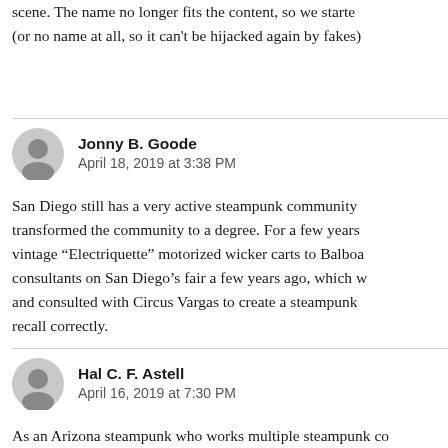scene. The name no longer fits the content, so we started (or no name at all, so it can't be hijacked again by fakes)
Jonny B. Goode
April 18, 2019 at 3:38 PM
San Diego still has a very active steampunk community transformed the community to a degree. For a few years vintage “Electriquette” motorized wicker carts to Balboa consultants on San Diego’s fair a few years ago, which w and consulted with Circus Vargas to create a steampunk recall correctly.
Hal C. F. Astell
April 16, 2019 at 7:30 PM
As an Arizona steampunk who works multiple steampunk co every year and co-runs a steampunk social group, I can ech